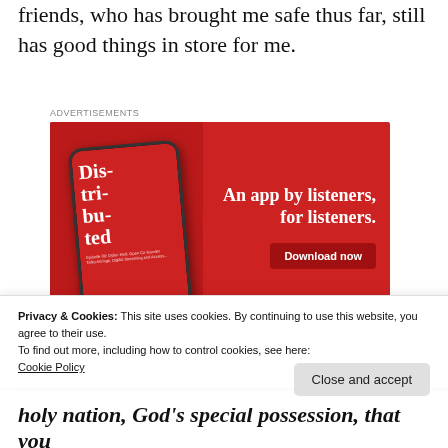friends, who has brought me safe thus far, still has good things in store for me.
[Figure (screenshot): Advertisement banner showing a podcast app called 'Distributed' with a phone mockup on a red background. Text reads 'An app by listeners, for listeners.' with a 'Download now' button.]
Privacy & Cookies: This site uses cookies. By continuing to use this website, you agree to their use.
To find out more, including how to control cookies, see here:
Cookie Policy
Close and accept
holy nation, God's special possession, that you